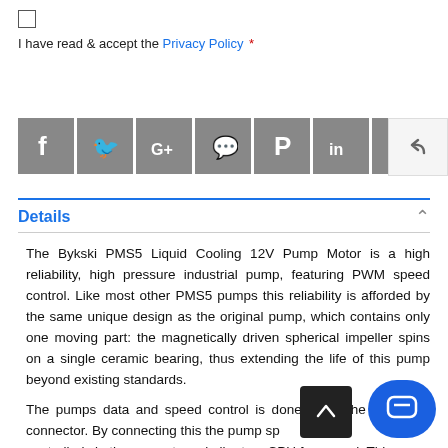I have read & accept the Privacy Policy *
[Figure (screenshot): Row of social media sharing icon buttons: Facebook, Twitter, Google+, Messenger, Pinterest, LinkedIn, Print, More (plus). A reply/undo button on the right side.]
Details
The Bykski PMS5 Liquid Cooling 12V Pump Motor is a high reliability, high pressure industrial pump, featuring PWM speed control. Like most other PMS5 pumps this reliability is afforded by the same unique design as the original pump, which contains only one moving part: the magnetically driven spherical impeller spins on a single ceramic bearing, thus extending the life of this pump beyond existing standards.
The pumps data and speed control is done using the PWM pin connector. By connecting this the pump speed can be controlled via the computers similar to a CPU fan speed. This